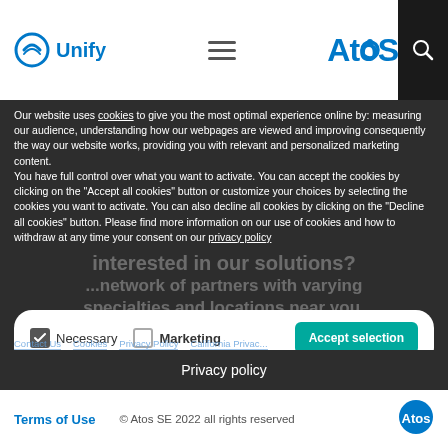Unify | Atos
Our website uses cookies to give you the most optimal experience online by: measuring our audience, understanding how our webpages are viewed and improving consequently the way our website works, providing you with relevant and personalized marketing content.
You have full control over what you want to activate. You can accept the cookies by clicking on the "Accept all cookies" button or customize your choices by selecting the cookies you want to activate. You can also decline all cookies by clicking on the "Decline all cookies" button. Please find more information on our use of cookies and how to withdraw at any time your consent on our privacy policy
Necessary   Marketing   Accept selection
Accept all cookies
Decline all cookies
Privacy policy
Terms of Use   © Atos SE 2022 all rights reserved